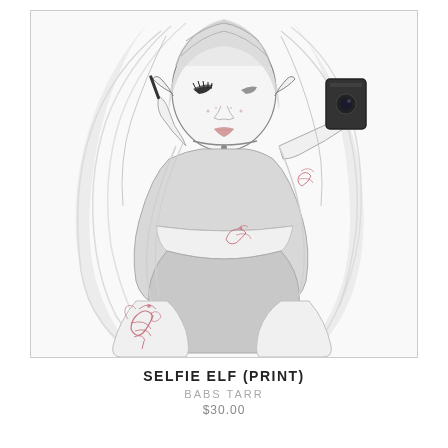[Figure (illustration): A pencil-style illustration of a stylized female elf character taking a selfie with a phone/camera. She has long flowing blonde/white hair, wears a cropped grey top and shorts/underwear, and has pink floral tattoos on her thigh and arm. Her ears are pointed (elf ears). She poses with one hand applying mascara and the other holding a camera up to her face.]
SELFIE ELF (PRINT)
BABS TARR
$30.00